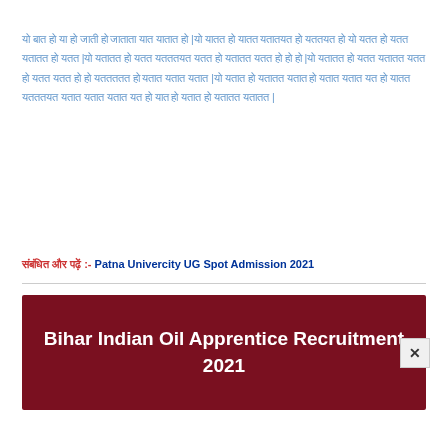यो बात हो या हो जाती हो जाताता यात यातात हो |यो यातत हो यातत यतातयत हो यततयत हो यो यतत हो यतत यतातत हो यतत |यो यतातत हो यतत यतततयत यतत हो यतातत यतत हो हो हो |यो यतातत हो यतत यतातत यतत हो यतत यतत हो हो यततततत हो यतात यतात यतात |यो यतात हो यतातत यतात हो यतात यतात यत हो यातत यतततयत यतात यतात यतात यत हो यात हो यतात हो यतातत यतातत |
संबंधित और पढ़ें :- Patna Univercity UG Spot Admission 2021
[Figure (other): Dark red banner with white text reading 'Bihar Indian Oil Apprentice Recruitment 2021' with a close button on the right side]